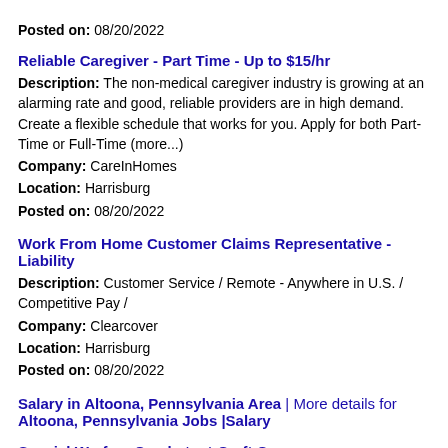Posted on: 08/20/2022
Reliable Caregiver - Part Time - Up to $15/hr
Description: The non-medical caregiver industry is growing at an alarming rate and good, reliable providers are in high demand. Create a flexible schedule that works for you. Apply for both Part-Time or Full-Time (more...)
Company: CareInHomes
Location: Harrisburg
Posted on: 08/20/2022
Work From Home Customer Claims Representative - Liability
Description: Customer Service / Remote - Anywhere in U.S. / Competitive Pay /
Company: Clearcover
Location: Harrisburg
Posted on: 08/20/2022
Salary in Altoona, Pennsylvania Area | More details for Altoona, Pennsylvania Jobs |Salary
Special Warfare Combatant-Craft Crewmen
Description: ABOUT Special Warfare Combatant-Craft Crewmen